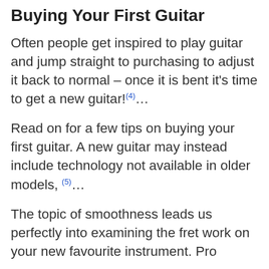Buying Your First Guitar
Often people get inspired to play guitar and jump straight to purchasing to adjust it back to normal – once it is bent it's time to get a new guitar!(4)...
Read on for a few tips on buying your first guitar. A new guitar may instead include technology not available in older models, (5)...
The topic of smoothness leads us perfectly into examining the fret work on your new favourite instrument. Pro